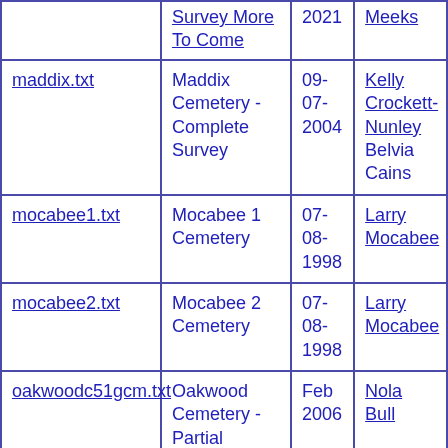| File | Description | Date | Contributor |
| --- | --- | --- | --- |
|  | Survey More To Come | 2021 | Meeks |
| maddix.txt | Maddix Cemetery - Complete Survey | 09-07-2004 | Kelly Crockett-Nunley Belvia Cains |
| mocabee1.txt | Mocabee 1 Cemetery | 07-08-1998 | Larry Mocabee |
| mocabee2.txt | Mocabee 2 Cemetery | 07-08-1998 | Larry Mocabee |
| oakwoodc51gcm.txt | Oakwood Cemetery - Partial Survey No More To Come | Feb 2006 | Nola Bull |
|  | Owens-Lawhorn | 03- | Cassy |